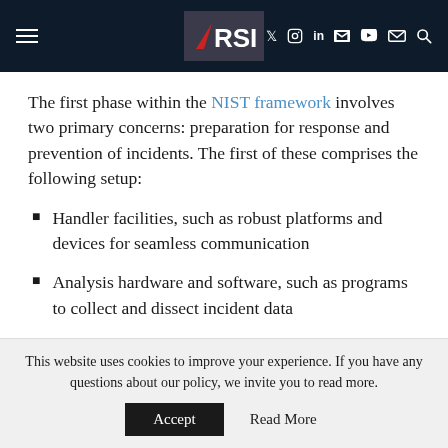RSI navigation bar with hamburger menu, RSI logo, and social icons: f, twitter, instagram, in, youtube, email, search
The first phase within the NIST framework involves two primary concerns: preparation for response and prevention of incidents. The first of these comprises the following setup:
Handler facilities, such as robust platforms and devices for seamless communication
Analysis hardware and software, such as programs to collect and dissect incident data
Miscellaneous...
This website uses cookies to improve your experience. If you have any questions about our policy, we invite you to read more. Accept | Read More